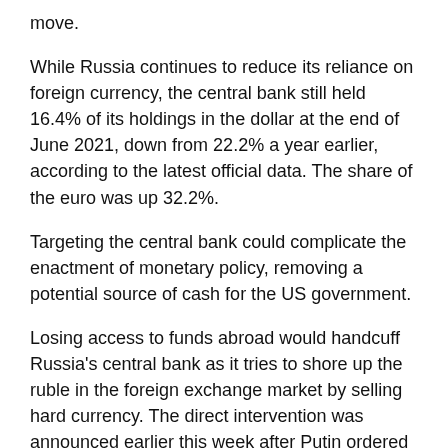move.
While Russia continues to reduce its reliance on foreign currency, the central bank still held 16.4% of its holdings in the dollar at the end of June 2021, down from 22.2% a year earlier, according to the latest official data. The share of the euro was up 32.2%.
Targeting the central bank could complicate the enactment of monetary policy, removing a potential source of cash for the US government.
Losing access to funds abroad would handcuff Russia's central bank as it tries to shore up the ruble in the foreign exchange market by selling hard currency. The direct intervention was announced earlier this week after Putin ordered an attack on Ukraine, marking the first time the Bank of Russia entered the market since 2014.